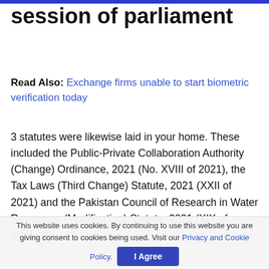session of parliament
Read Also: Exchange firms unable to start biometric verification today
3 statutes were likewise laid in your home. These included the Public-Private Collaboration Authority (Change) Ordinance, 2021 (No. XVIII of 2021), the Tax Laws (Third Change) Statute, 2021 (XXII of 2021) and the Pakistan Council of Research in Water Resources (Modification) Statute, 2021 (XIX of 2021).
Right after the recitation of verses from the divine Quran
This website uses cookies. By continuing to use this website you are giving consent to cookies being used. Visit our Privacy and Cookie Policy. I Agree